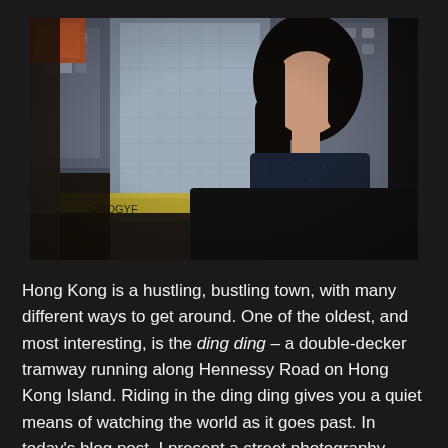[Figure (photo): A woman with long black hair sits on a dark seat inside a tram or bus, looking out a large window. Through the window, Hong Kong city buildings are visible. A red sign with Chinese characters is visible on the right side.]
Hong Kong is a hustling, bustling town, with many different ways to get around. One of the oldest, and most interesting, is the ding ding – a double-decker tramway running along Hennessy Road on Hong Kong Island. Riding in the ding ding gives you a quiet means of watching the world as it goes past. In today's blog post, I present a street photography series of what I saw while riding the ding ding.